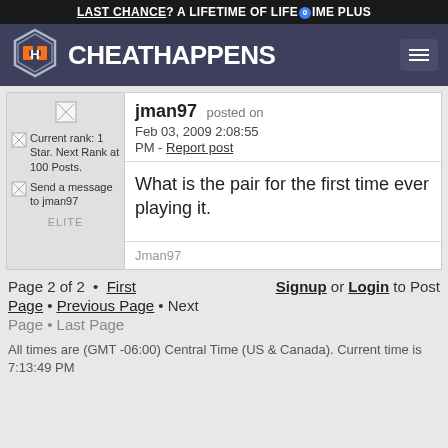LAST CHANCE? A LIFETIME OF LIFETIME PLUS
[Figure (logo): Cheat Happens logo with hexagonal CH icon and site name in white on dark blue-purple header]
jman97 posted on Feb 03, 2009 2:08:55 PM - Report post
What is the pair for the first time ever playing it.
Jman97
Current rank: 1 Star. Next Rank at 100 Posts.
Send a message to jman97
ELITE
Page 2 of 2 • First Page • Previous Page • Next Page • Last Page
Signup or Login to Post
All times are (GMT -06:00) Central Time (US & Canada). Current time is 7:13:49 PM